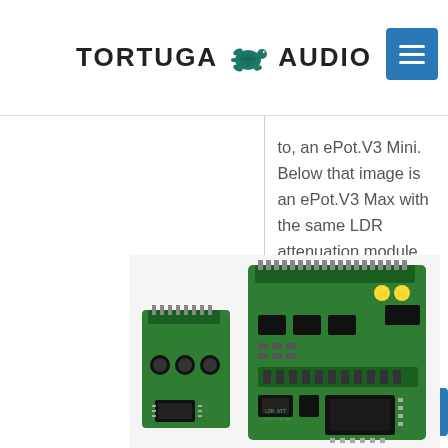TORTUGA AUDIO
to, an ePot.V3 Mini. Below that image is an ePot.V3 Max with the same LDR attenuation module installed.
[Figure (photo): Two green PCB circuit boards — a smaller LDR attenuation module (ePot.V3 Mini) on the left and a larger ePot.V3 Max board on the right, both showing electronic components including chips, capacitors, and connectors.]